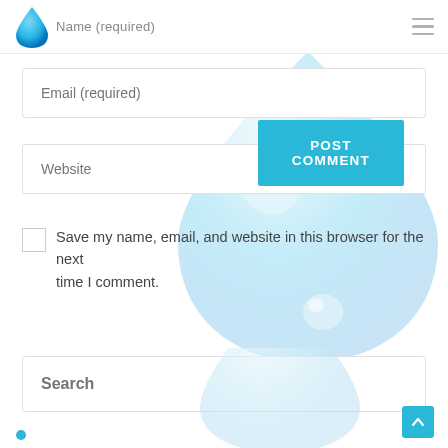Name (required)
Email (required)
Website
Save my name, email, and website in this browser for the next time I comment.
POST COMMENT
Search
[Figure (illustration): Large translucent water drop illustration overlapping the form area]
[Figure (illustration): Partial glass/water drop illustration at bottom center]
[Figure (logo): Blue water drop logo in top left header]